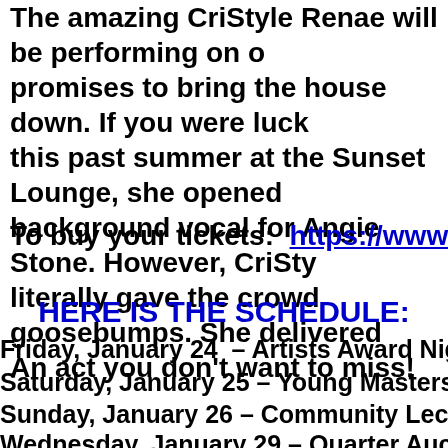The amazing CriStyle Renae will be performing on our stage and promises to bring the house down. If you were lucky enough to catch her this past summer at the Sunset Lounge, she opened the show as the background vocal for Angie Stone. However, CriStyle literally gave the crowd goosebumps. She delivered an incredible set. An act you don't want to miss!
To buy your tickets:  https://www.continuumwpbarts
HERE IS THE SCHEDULE:
Friday, January 24  – Artists Award Night 6
Saturday, January 25 – Young Masters Day  N
Sunday, January 26 – Community Lecture Day N
Wednesday, January 29 – Quarter Auction Host